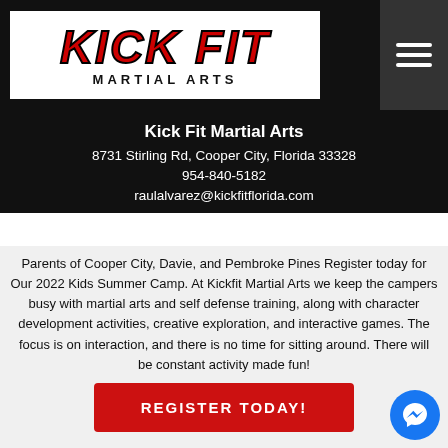[Figure (logo): Kick Fit Martial Arts logo — red bold italic stylized text 'KICK FIT' above 'MARTIAL ARTS' in black on white background]
Kick Fit Martial Arts
8731 Stirling Rd, Cooper City, Florida 33328
954-840-5182
raulalvarez@kickfitflorida.com
Parents of Cooper City, Davie, and Pembroke Pines Register today for Our 2022 Kids Summer Camp. At Kickfit Martial Arts we keep the campers busy with martial arts and self defense training, along with character development activities, creative exploration, and interactive games. The focus is on interaction, and there is no time for sitting around. There will be constant activity made fun!
REGISTER TODAY!